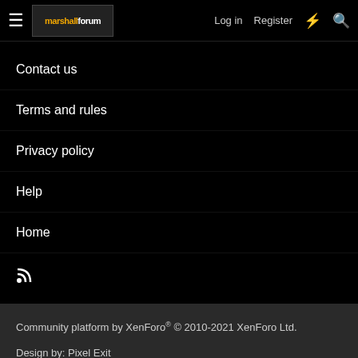marshallforum | Log in | Register
Contact us
Terms and rules
Privacy policy
Help
Home
RSS
Community platform by XenForo® © 2010-2021 XenForo Ltd.
Design by: Pixel Exit
| Media embeds via s9e/MediaSites